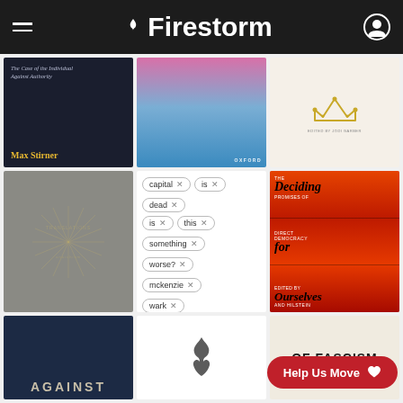Firestorm
[Figure (illustration): Book cover: dark navy background, text 'The Case of the Individual Against Authority', author 'Max Stirner' in gold]
[Figure (illustration): Book cover: abstract blue and pink gradient, Oxford publisher label]
[Figure (illustration): Book cover: cream background with gold crown illustration, edited by Jodi Garber]
[Figure (illustration): Book cover: gray embossed sunburst design]
[Figure (illustration): Search filter tags: capital x, is x, dead x, is x, this x, something x, worse? x, mckenzie x, wark x]
[Figure (illustration): Book cover: 'Deciding for Ourselves - Direct Democracy' by Hilstein, red and orange crowd photography]
[Figure (illustration): Book cover: dark blue textured, 'AGAINST' text]
[Figure (illustration): Book cover: white with flame logo]
[Figure (illustration): Book cover: 'OF FASCISM' text]
Help Us Move